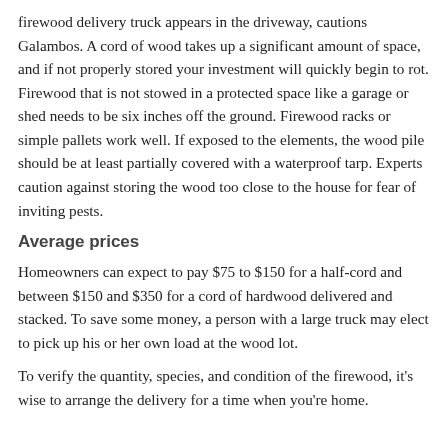firewood delivery truck appears in the driveway, cautions Galambos. A cord of wood takes up a significant amount of space, and if not properly stored your investment will quickly begin to rot. Firewood that is not stowed in a protected space like a garage or shed needs to be six inches off the ground. Firewood racks or simple pallets work well. If exposed to the elements, the wood pile should be at least partially covered with a waterproof tarp. Experts caution against storing the wood too close to the house for fear of inviting pests.
Average prices
Homeowners can expect to pay $75 to $150 for a half-cord and between $150 and $350 for a cord of hardwood delivered and stacked. To save some money, a person with a large truck may elect to pick up his or her own load at the wood lot.
To verify the quantity, species, and condition of the firewood, it's wise to arrange the delivery for a time when you're home.